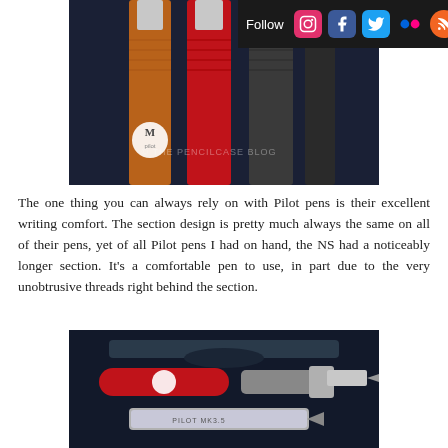[Figure (photo): Multiple Pilot fountain pens standing upright, showing copper/orange, red, and black/dark barrel colors, with a watermark reading M and THE PENCILCASE BLOG]
[Figure (screenshot): Follow bar with social media icons: Instagram, Facebook, Twitter, Flickr, RSS]
The one thing you can always rely on with Pilot pens is their excellent writing comfort. The section design is pretty much always the same on all of their pens, yet of all Pilot pens I had on hand, the NS had a noticeably longer section. It's a comfortable pen to use, in part due to the very unobtrusive threads right behind the section.
[Figure (photo): Red Pilot fountain pen shown disassembled, with cap, body, and nib/converter visible on dark background]